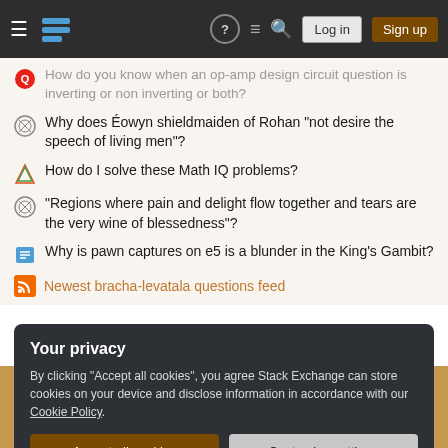Stack Exchange navigation bar with Log in and Sign up buttons
How do you know when an op-amp design circuit question is inverting or non inverting or both?
Why does Éowyn shieldmaiden of Rohan "not desire the speech of living men"?
How do I solve these Math IQ problems?
"Regions where pain and delight flow together and tears are the very wine of blessedness"?
Why is pawn captures on e5 is a blunder in the King's Gambit?
Newest bracha-levatala questions feed
MLYODEYA
Your privacy
By clicking "Accept all cookies", you agree Stack Exchange can store cookies on your device and disclose information in accordance with our Cookie Policy.
Accept all cookies | Customize settings
STACK EXCHANGE NETWORK